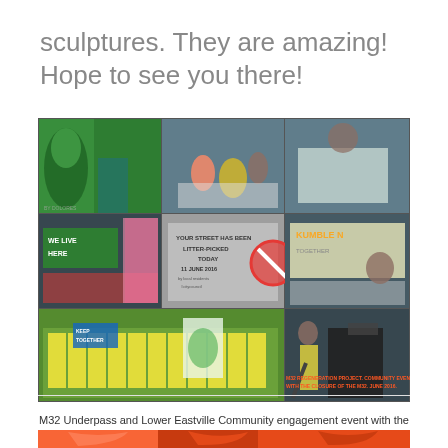sculptures. They are amazing! Hope to see you there!
[Figure (photo): Collage of community engagement photos at M32 Underpass and Lower Eastville: people in high-visibility vests painting, holding banners saying 'We Live Here', litter-picking sign reading 'Your Street Has Been Litter-Picked Today 11 June 2016', group photos with artwork, orange graffiti mural. Red overlay text reads 'M32 Regeneration Project. Community event with the closure of the M32. June 2016.']
M32 Underpass and Lower Eastville Community engagement event with the closure of the M32 in June 2016.
[Figure (photo): Close-up of orange and red graffiti/mural artwork, partially visible at bottom of page.]